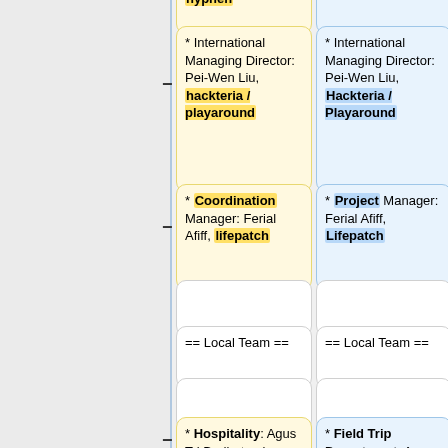hyphen (box, top, cut off)
* International Managing Director: Pei-Wen Liu, hackteria / playaround
* International Managing Director: Pei-Wen Liu, Hackteria / Playaround
* Coordination Manager: Ferial Afiff, lifepatch
* Project Manager: Ferial Afiff, Lifepatch
== Local Team ==
== Local Team ==
* Hospitality: Agus Tri Budiarto aka Timbil
* Field Trip Department: Agus Tri Budiarto aka Timbil, Lifepatch /